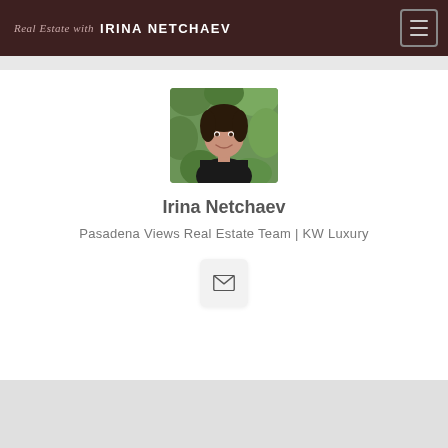Real Estate with IRINA NETCHAEV
[Figure (photo): Profile photo of Irina Netchaev, a woman with dark hair, wearing a black top, with green foliage in the background]
Irina Netchaev
Pasadena Views Real Estate Team | KW Luxury
[Figure (illustration): Email envelope icon inside a light gray rounded square button]